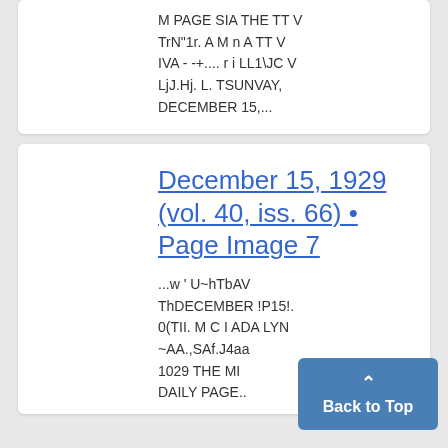M PAGE SIA THE TT V TrN"1r. A M n A TT V IVA - -+.... r i LL1\JC V LjJ.Hj. L. TSUNVAY, DECEMBER 15,...
December 15, 1929 (vol. 40, iss. 66) • Page Image 7
...w ' U~hTbAV ThDECEMBER !P15!. 0(TII. M C I ADA LYN ~AA.,SAf.J4aa 1029 THE MI DAILY PAGE..